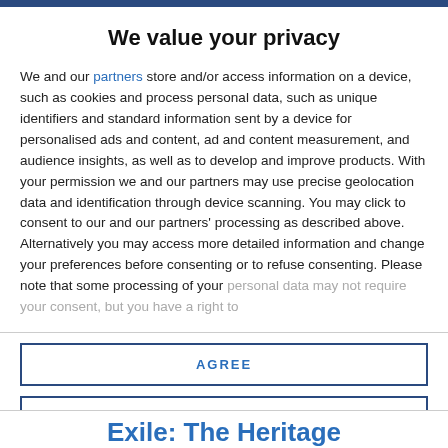We value your privacy
We and our partners store and/or access information on a device, such as cookies and process personal data, such as unique identifiers and standard information sent by a device for personalised ads and content, ad and content measurement, and audience insights, as well as to develop and improve products. With your permission we and our partners may use precise geolocation data and identification through device scanning. You may click to consent to our and our partners' processing as described above. Alternatively you may access more detailed information and change your preferences before consenting or to refuse consenting. Please note that some processing of your personal data may not require your consent, but you have a right to
AGREE
MORE OPTIONS
Exile: The Heritage